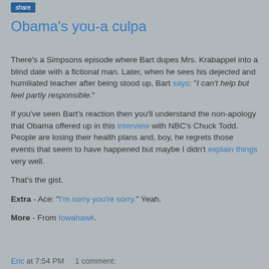Obama's you-a culpa
There's a Simpsons episode where Bart dupes Mrs. Krabappel into a blind date with a fictional man.  Later, when he sees his dejected and humiliated teacher after being stood up, Bart says: "I can't help but feel partly responsible."
If you've seen Bart's reaction then you'll understand the non-apology that Obama offered up in this interview with NBC's Chuck Todd.  People are losing their health plans and, boy, he regrets those events that seem to have happened but maybe I didn't explain things very well.
That's the gist.
Extra - Ace: "I'm sorry you're sorry."  Yeah.
More - From Iowahawk.
Eric at 7:54 PM    1 comment: